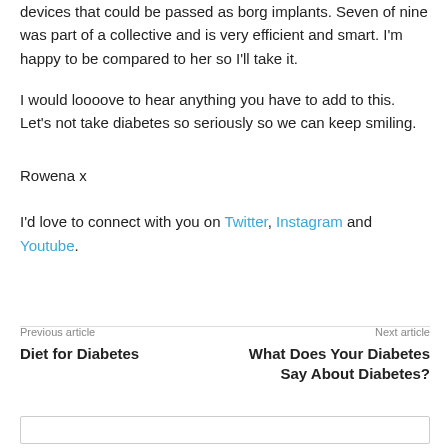devices that could be passed as borg implants. Seven of nine was part of a collective and is very efficient and smart. I'm happy to be compared to her so I'll take it.
I would loooove to hear anything you have to add to this. Let's not take diabetes so seriously so we can keep smiling.
Rowena x
I'd love to connect with you on Twitter, Instagram and Youtube.
Previous article
Diet for Diabetes
Next article
What Does Your Diabetes Say About Diabetes?